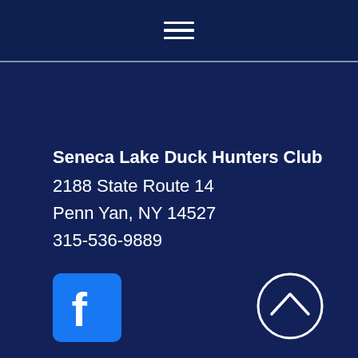[Figure (other): Hamburger menu icon (three horizontal white lines) in dark navy header bar]
Seneca Lake Duck Hunters Club
2188 State Route 14
Penn Yan, NY 14527
315-536-9889
[Figure (logo): Facebook logo icon — white 'f' on blue rounded square background]
[Figure (other): Scroll-to-top button: circle outline with upward chevron inside, white stroke on dark background]